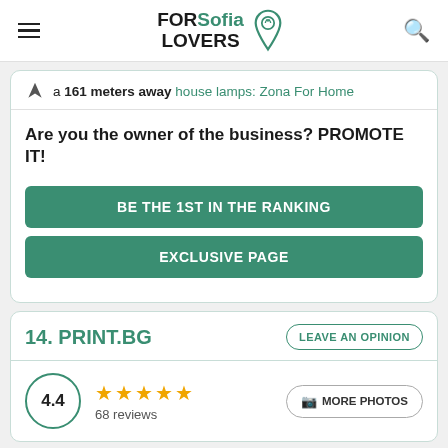FORSofia LOVERS
a 161 meters away house lamps: Zona For Home
Are you the owner of the business? PROMOTE IT!
BE THE 1ST IN THE RANKING
EXCLUSIVE PAGE
14. PRINT.BG
LEAVE AN OPINION
4.4
68 reviews
MORE PHOTOS